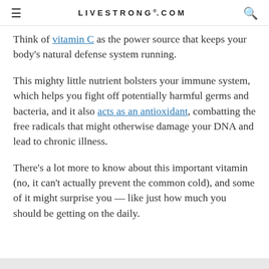LIVESTRONG.COM
Think of vitamin C as the power source that keeps your body's natural defense system running.
This mighty little nutrient bolsters your immune system, which helps you fight off potentially harmful germs and bacteria, and it also acts as an antioxidant, combatting the free radicals that might otherwise damage your DNA and lead to chronic illness.
There's a lot more to know about this important vitamin (no, it can't actually prevent the common cold), and some of it might surprise you — like just how much you should be getting on the daily.